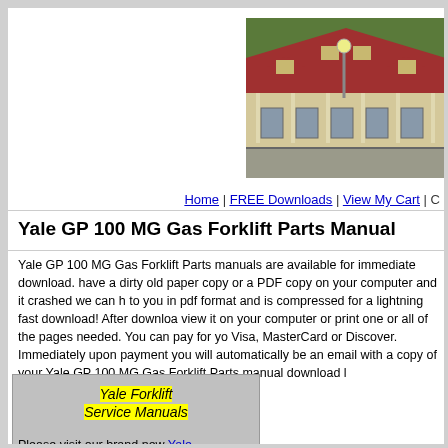[Figure (photo): Photograph of a historic train station building with red roof, ornate wooden trim, and a street lamp in front, surrounded by green trees.]
Home | FREE Downloads | View My Cart | C
Yale GP 100 MG Gas Forklift Parts Manual
Yale GP 100 MG Gas Forklift Parts manuals are available for immediate download. have a dirty old paper copy or a PDF copy on your computer and it crashed we can h to you in pdf format and is compressed for a lightning fast download! After downloa view it on your computer or print one or all of the pages needed. You can pay for yo Visa, MasterCard or Discover. Immediately upon payment you will automatically be an email with a copy of your Yale GP 100 MG Gas Forklift Parts manual download l
[Figure (other): Gray box advertisement for Yale Forklift Service Manuals with yellow highlighted italic text and a link.]
Please visit our brand new Yale